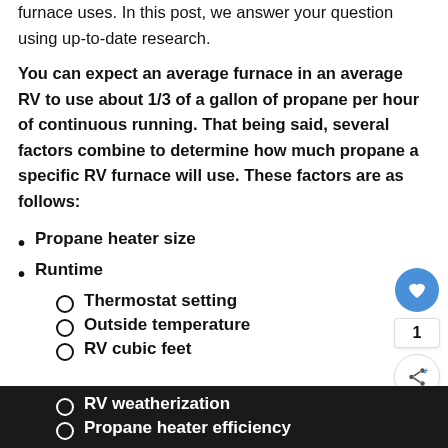furnace uses. In this post, we answer your question using up-to-date research.
You can expect an average furnace in an average RV to use about 1/3 of a gallon of propane per hour of continuous running. That being said, several factors combine to determine how much propane a specific RV furnace will use. These factors are as follows:
Propane heater size
Runtime
Thermostat setting
Outside temperature
RV cubic feet
RV weatherization
Propane heater efficiency